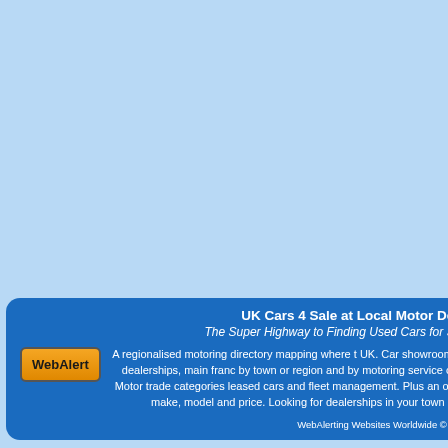UK Cars 4 Sale at Local Motor Dealerships
The Super Highway to Finding Used Cars for Sale and...
[Figure (logo): WebAlert orange and dark badge logo]
A regionalised motoring directory mapping where the UK. Car showrooms, motor dealerships, main franchises by town or region and by motoring service offered. Motor trade categories leased cars and fleet management. Plus an online car make, model and price. Looking for dealerships in your town or...
WebAlerting Websites Worldwide © The Web...